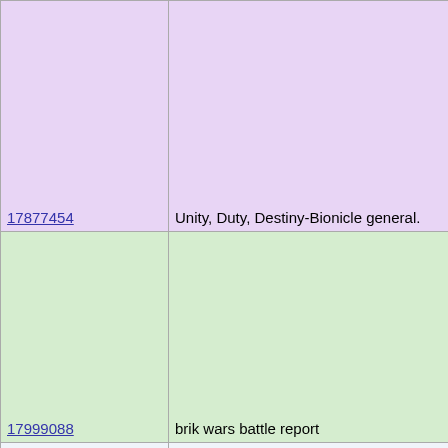| ID | Title |
| --- | --- |
| 17877454 | Unity, Duty, Destiny-Bionicle general. |
| 17999088 | brik wars battle report |
| 18000310 | BrikWars Battle Report Pt2 |
|  | April |
| 18532455 | Lego Quest: Blockout |
| 18567722 | Lego Quest BLOCKOUT pt. 2 |
| 18615947 | Lego Quest BLOCKOUT pt. 3 |